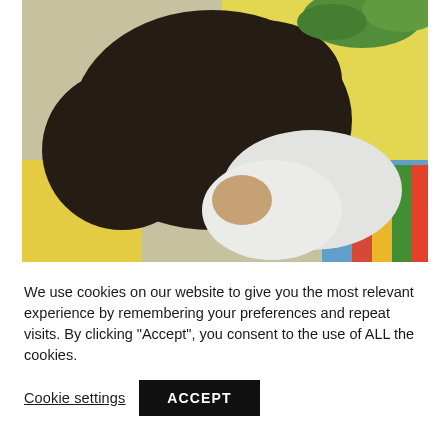[Figure (photo): Overhead view of a child with dark hair bending down over colorful books or art supplies, with yellow and blue items visible, and green plant in upper background.]
We use cookies on our website to give you the most relevant experience by remembering your preferences and repeat visits. By clicking “Accept”, you consent to the use of ALL the cookies.
Cookie settings
ACCEPT